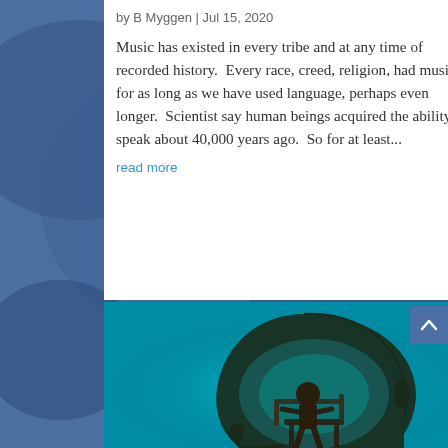by B Myggen | Jul 15, 2020
Music has existed in every tribe and at any time of recorded history.  Every race, creed, religion, had music for as long as we have used language, perhaps even longer.  Scientist say human beings acquired the ability to speak about 40,000 years ago.  So for at least...
read more
[Figure (photo): Silhouette of a human head profile facing right, with a dark figure of a person seated at a desk/wheel inside the head against a teal/cyan background, symbolizing the concept of a person or driver inside the mind.]